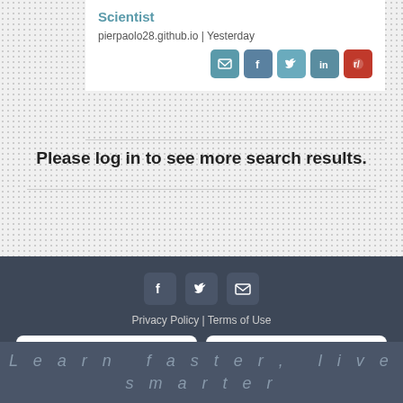Scientist
pierpaolo28.github.io | Yesterday
[Figure (screenshot): Social share icons: email, facebook, twitter, linkedin, reddit]
Please log in to see more search results.
[Figure (screenshot): Footer social icons: facebook, twitter, email]
Privacy Policy | Terms of Use
[Figure (screenshot): Download on App Store and Get it on Google Play buttons]
Contact us
Learn faster, live smarter